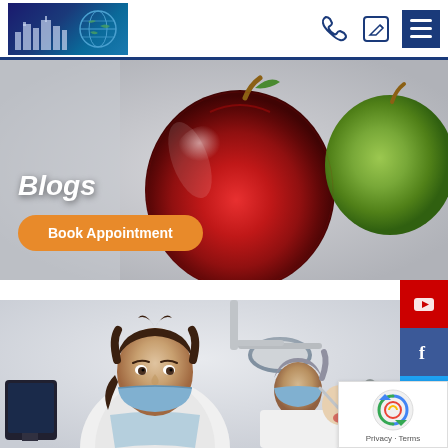[Figure (logo): Cityscape globe logo with dark blue/teal background]
[Figure (photo): Header navigation icons: phone, edit, menu hamburger]
[Figure (photo): Red apple hero banner image with Blogs label and Book Appointment button]
Blogs
Book Appointment
[Figure (photo): Dental clinic photo: smiling female dentist in white coat with blue mask, male dentist treating patient in background]
[Figure (other): Social media sidebar buttons: YouTube (red), Facebook (blue), Twitter (blue), LinkedIn (teal)]
[Figure (other): reCAPTCHA badge with logo and Privacy - Terms text]